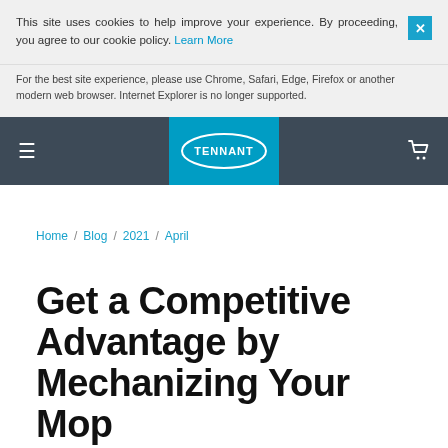This site uses cookies to help improve your experience. By proceeding, you agree to our cookie policy. Learn More
For the best site experience, please use Chrome, Safari, Edge, Firefox or another modern web browser. Internet Explorer is no longer supported.
[Figure (logo): Tennant company logo in white oval on teal background, navigation bar with hamburger menu and cart icon]
Home / Blog / 2021 / April
Get a Competitive Advantage by Mechanizing Your Mop